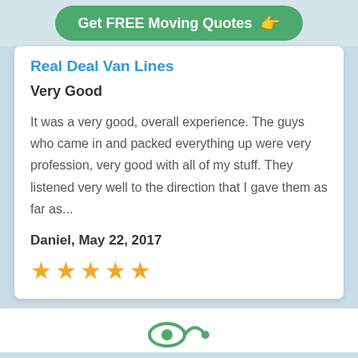[Figure (other): Green CTA button with text 'Get FREE Moving Quotes' and a pointing hand icon]
Real Deal Van Lines
Very Good
It was a very good, overall experience. The guys who came in and packed everything up were very profession, very good with all of my stuff. They listened very well to the direction that I gave them as far as...
Daniel, May 22, 2017
[Figure (other): 5 gold star rating icons]
[Figure (other): Partial icon visible at bottom of page]